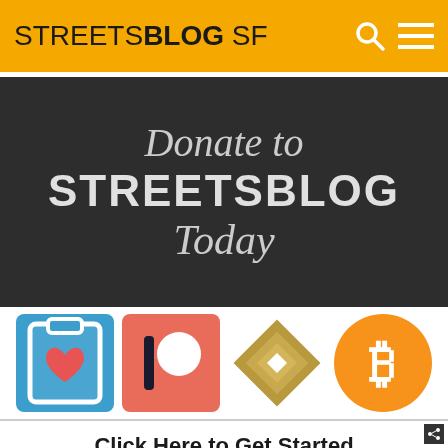STREETSBLOG SF
[Figure (illustration): Donate to STREETSBLOG Today banner on dark background]
[Figure (infographic): Four payment/donation icons: Generosity (clipboard with heart), Patreon, Stripe, Bitcoin]
Click Here to Get Started